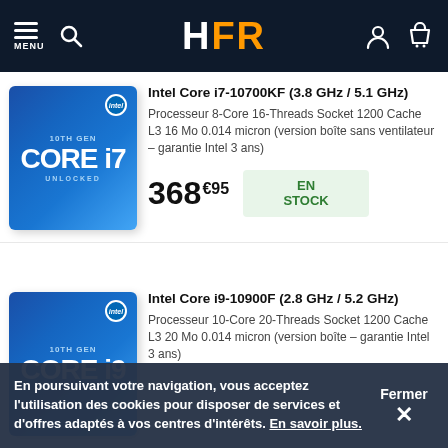HFR (Header navigation)
Intel Core i7-10700KF (3.8 GHz / 5.1 GHz)
Processeur 8-Core 16-Threads Socket 1200 Cache L3 16 Mo 0.014 micron (version boîte sans ventilateur – garantie Intel 3 ans)
368€95 EN STOCK
Intel Core i9-10900F (2.8 GHz / 5.2 GHz)
Processeur 10-Core 20-Threads Socket 1200 Cache L3 20 Mo 0.014 micron (version boîte – garantie Intel 3 ans)
En poursuivant votre navigation, vous acceptez l'utilisation des cookies pour disposer de services et d'offres adaptés à vos centres d'intérêts. En savoir plus.
Fermer ×